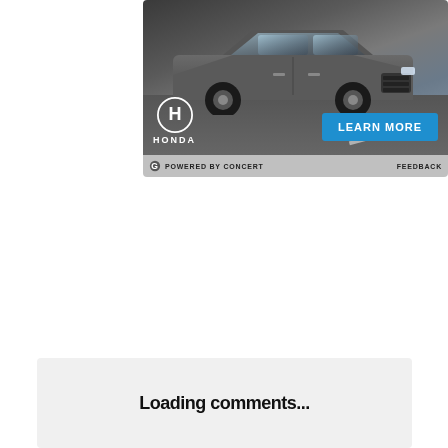[Figure (photo): Honda advertisement showing a gray Honda SUV (CR-V or similar) driving on a road, with Honda logo and 'LEARN MORE' blue button, and 'POWERED BY CONCERT' bar at the bottom of the ad.]
Loading comments...